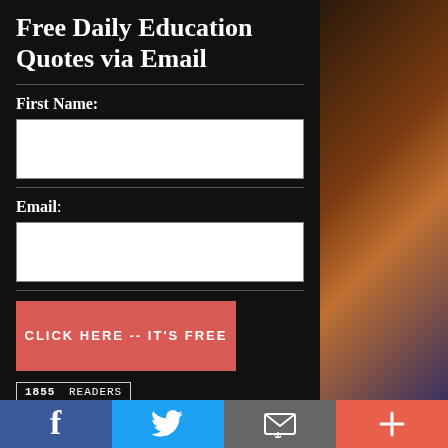Free Daily Education Quotes via Email
First Name:
[Figure (other): Text input field for First Name]
Email:
[Figure (other): Text input field for Email]
CLICK HERE -- IT'S FREE
1855 READERS
[Figure (other): Social media share bar with Facebook, Twitter, Email, and Plus buttons]